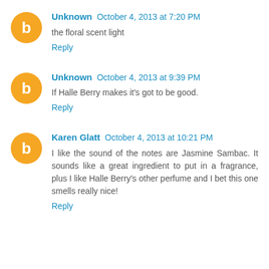Unknown October 4, 2013 at 7:20 PM
the floral scent light
Reply
Unknown October 4, 2013 at 9:39 PM
If Halle Berry makes it's got to be good.
Reply
Karen Glatt October 4, 2013 at 10:21 PM
I like the sound of the notes are Jasmine Sambac. It sounds like a great ingredient to put in a fragrance, plus I like Halle Berry's other perfume and I bet this one smells really nice!
Reply